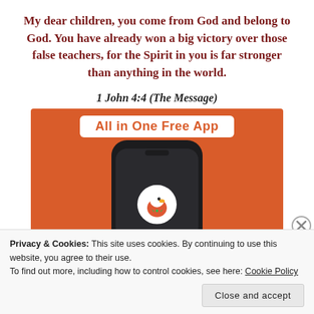My dear children, you come from God and belong to God. You have already won a big victory over those false teachers, for the Spirit in you is far stronger than anything in the world.
1 John 4:4 (The Message)
[Figure (screenshot): DuckDuckGo 'All in One Free App' advertisement showing a smartphone with the DuckDuckGo duck logo on an orange background]
Privacy & Cookies: This site uses cookies. By continuing to use this website, you agree to their use.
To find out more, including how to control cookies, see here: Cookie Policy
Close and accept